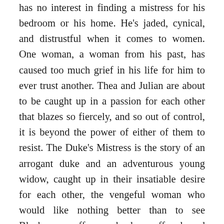has no interest in finding a mistress for his bedroom or his home. He's jaded, cynical, and distrustful when it comes to women. One woman, a woman from his past, has caused too much grief in his life for him to ever trust another. Thea and Julian are about to be caught up in a passion for each other that blazes so fiercely, and so out of control, it is beyond the power of either of them to resist. The Duke's Mistress is the story of an arrogant duke and an adventurous young widow, caught up in their insatiable desire for each other, the vengeful woman who would like nothing better than to see Blackmoor suffer as she has suffered, and believes Thea Fitzroy to be the means by which she will achieve it. Author's Note: Please be aware that the stories in the Regency Unlaced